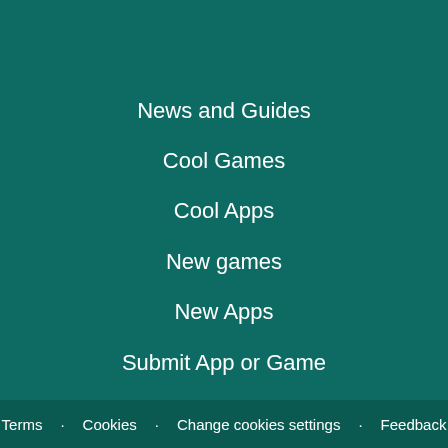News and Guides
Cool Games
Cool Apps
New games
New Apps
Submit App or Game
Terms · Cookies · Change cookies settings · Feedback